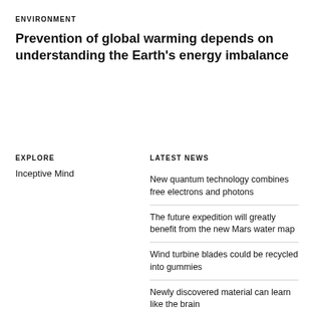ENVIRONMENT
Prevention of global warming depends on understanding the Earth's energy imbalance
EXPLORE
Inceptive Mind
LATEST NEWS
New quantum technology combines free electrons and photons
The future expedition will greatly benefit from the new Mars water map
Wind turbine blades could be recycled into gummies
Newly discovered material can learn like the brain
A 4-Billion-year-old ancient piece of Earth's crust found underneath Western Australia